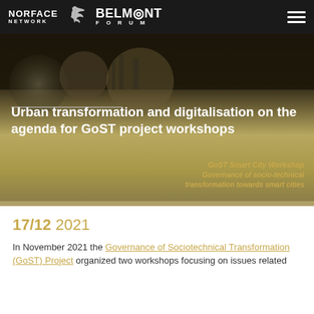NORFACE NETWORK | BELMONT FORUM
[Figure (screenshot): Hero banner with dark and golden-toned background showing urban cityscape silhouette and circular photo overlays]
Urban transformation and digitalisation on the agenda for GoST project workshops
GoST Smart City Workshop
Governance of socio-technical transformation towards smart cities
17/12 2021
In November 2021 the Governance of Sociotechnical Transformation (GoST) Project organized two workshops focusing on issues related to urban transformation